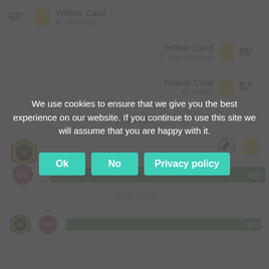62' Yellow Card R. Jiménez
Yellow Card J. Ward-Prowse 86'
Yellow Card M. Salisu 87'
1st Half
[Figure (infographic): Match timeline for 1st Half showing Wolves and Southampton logos with a green progress bar at 45']
2nd Half
[Figure (infographic): Match timeline for 2nd Half showing Wolves and Southampton logos with a green progress bar at 90']
We use cookies to ensure that we give you the best experience on our website. If you continue to use this site we will assume that you are happy with it.